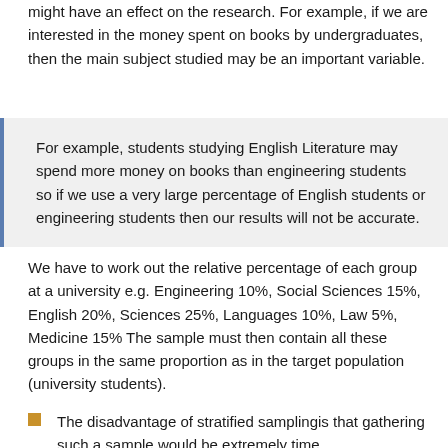might have an effect on the research. For example, if we are interested in the money spent on books by undergraduates, then the main subject studied may be an important variable.
For example, students studying English Literature may spend more money on books than engineering students so if we use a very large percentage of English students or engineering students then our results will not be accurate.
We have to work out the relative percentage of each group at a university e.g. Engineering 10%, Social Sciences 15%, English 20%, Sciences 25%, Languages 10%, Law 5%, Medicine 15% The sample must then contain all these groups in the same proportion as in the target population (university students).
The disadvantage of stratified samplingis that gathering such a sample would be extremely time